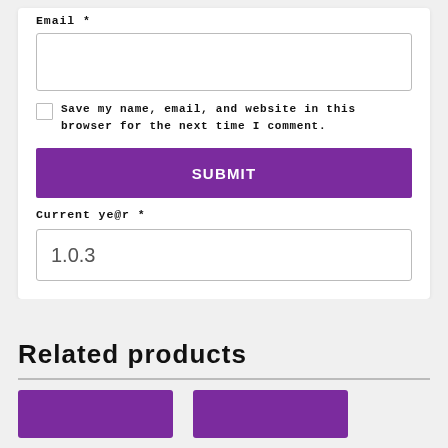Email *
[Figure (other): Empty email text input field with border]
Save my name, email, and website in this browser for the next time I comment.
SUBMIT
Current ye@r *
1.0.3
Related products